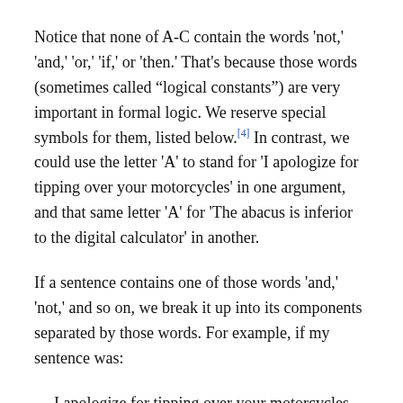Notice that none of A-C contain the words 'not,' 'and,' 'or,' 'if,' or 'then.' That's because those words (sometimes called "logical constants") are very important in formal logic. We reserve special symbols for them, listed below.[4] In contrast, we could use the letter 'A' to stand for 'I apologize for tipping over your motorcycles' in one argument, and that same letter 'A' for 'The abacus is inferior to the digital calculator' in another.
If a sentence contains one of those words 'and,' 'not,' and so on, we break it up into its components separated by those words. For example, if my sentence was:
I apologize for tipping over your motorcycles